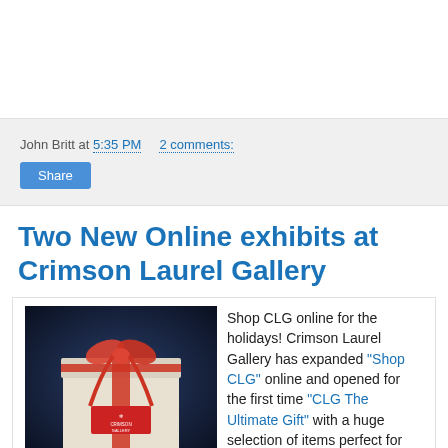John Britt at 5:35 PM   2 comments:
Share
Two New Online exhibits at Crimson Laurel Gallery
[Figure (photo): A wrapped gift box with white paper and a red ribbon bow, with a Crimson Gallery label/sticker on the front, against a dark blue background.]
Shop CLG online for the holidays! Crimson Laurel Gallery has expanded "Shop CLG" online and opened for the first time "CLG The Ultimate Gift" with a huge selection of items perfect for